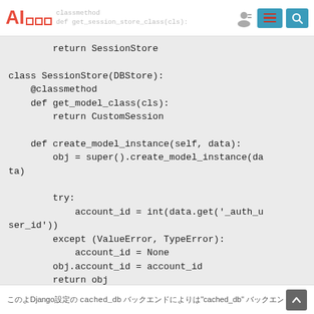AI[logo] classmethod def get_session_store_class(cls):
return SessionStore

class SessionStore(DBStore):
    @classmethod
    def get_model_class(cls):
            return CustomSession

    def create_model_instance(self, data):
            obj = super().create_model_instance(da
ta)

            try:
                    account_id = int(data.get('_auth_u
ser_id'))
            except (ValueError, TypeError):
                    account_id = None
            obj.account_id = account_id
            return obj
Django` cached_db` "cached_db"